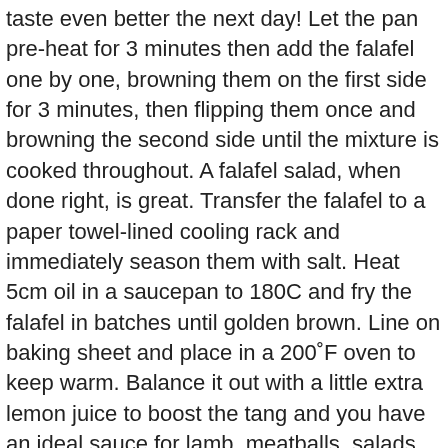taste even better the next day! Let the pan pre-heat for 3 minutes then add the falafel one by one, browning them on the first side for 3 minutes, then flipping them once and browning the second side until the mixture is cooked throughout. A falafel salad, when done right, is great. Transfer the falafel to a paper towel-lined cooling rack and immediately season them with salt. Heat 5cm oil in a saucepan to 180C and fry the falafel in batches until golden brown. Line on baking sheet and place in a 200˚F oven to keep warm. Balance it out with a little extra lemon juice to boost the tang and you have an ideal sauce for lamb, meatballs, salads, rice pilafs and, of course, falafel. To serve place lettuce, tomato and falafel in a pita bread and drizzle with the tahini sauce. In a moment of nostalgia a few weekends ago, I found myself digging through my massive bin of culinary school mementos—oil-stained notebooks, tattered chefs' coats, broken vegetable peelers, a paper toque, and buried within a folder of class notes, a recipe for homemade